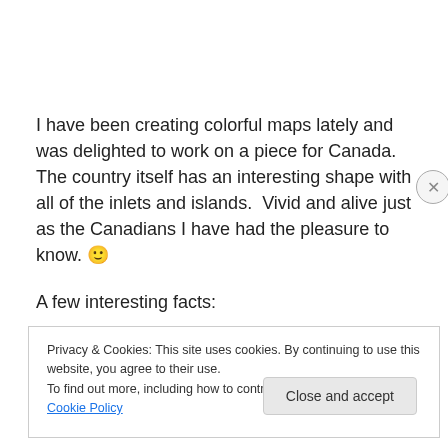I have been creating colorful maps lately and was delighted to work on a piece for Canada.  The country itself has an interesting shape with all of the inlets and islands.  Vivid and alive just as the Canadians I have had the pleasure to know. 🙂
A few interesting facts:
Privacy & Cookies: This site uses cookies. By continuing to use this website, you agree to their use.
To find out more, including how to control cookies, see here: Cookie Policy
Close and accept